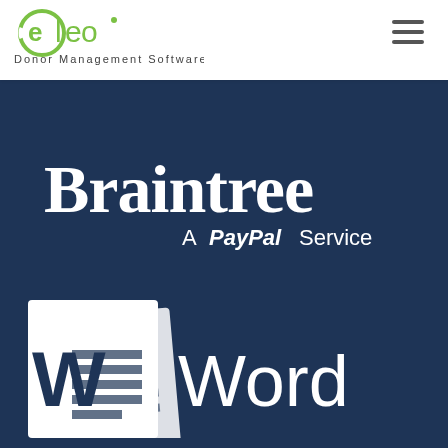[Figure (logo): Eleo Donor Management Software logo — green circular 'eleo' wordmark with tagline 'Donor Management Software' below]
[Figure (logo): Hamburger menu icon (three horizontal lines) in top-right corner of header]
[Figure (logo): Braintree — A PayPal Service logo in white on dark navy background]
[Figure (logo): Microsoft Word logo — white W icon with document pages and 'Word' text on dark navy background]